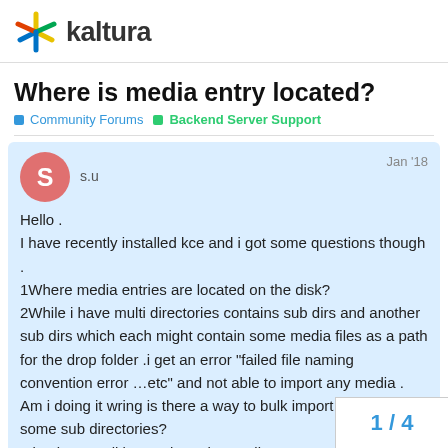kaltura
Where is media entry located?
Community Forums  Backend Server Support
s.u  Jan '18
Hello .
I have recently installed kce and i got some questions though .
1Where media entries are located on the disk?
2While i have multi directories contains sub dirs and another sub dirs which each might contain some media files as a path for the drop folder .i get an error "failed file naming convention error …etc" and not able to import any media . Am i doing it wring is there a way to bulk import media with in some sub directories?
3 i guise we all know about the media pacl    modul where we can have one hls link for   That can be played with any player suppor
1 / 4